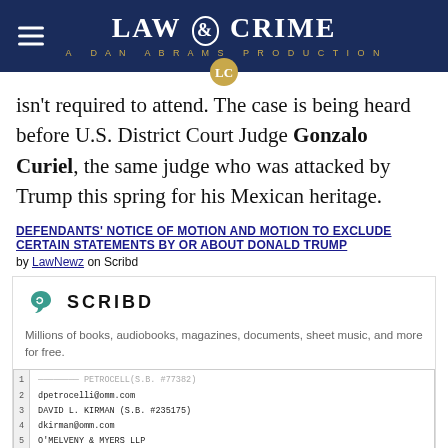LAW & CRIME — A DAN ABRAMS PRODUCTION
isn't required to attend. The case is being heard before U.S. District Court Judge Gonzalo Curiel, the same judge who was attacked by Trump this spring for his Mexican heritage.
DEFENDANTS' NOTICE OF MOTION AND MOTION TO EXCLUDE CERTAIN STATEMENTS BY OR ABOUT DONALD TRUMP by LawNewz on Scribd
[Figure (screenshot): Scribd embedded document preview showing logo, tagline 'Millions of books, audiobooks, magazines, documents, sheet music, and more for free.' and a document preview with line numbers showing legal filing by O'Melveny & Myers LLP.]